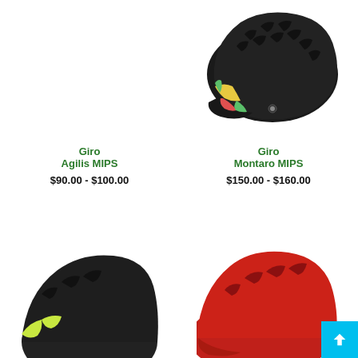[Figure (photo): Giro Agilis MIPS bicycle helmet - top-left, helmet not visible in this crop]
[Figure (photo): Giro Montaro MIPS bicycle helmet - matte black with colorful pattern on sides, viewed from slightly above]
Giro
Agilis MIPS
$90.00 - $100.00
Giro
Montaro MIPS
$150.00 - $160.00
[Figure (photo): Giro helmet - matte black, partial view at bottom left]
[Figure (photo): Giro helmet - matte red, partial view at bottom right]